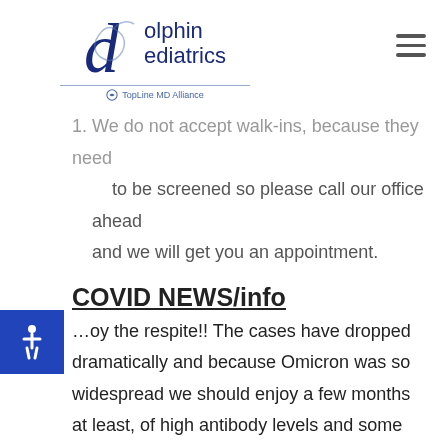[Figure (logo): Dolphin Pediatrics logo with TopLine MD Alliance text]
1. We do not accept walk-ins, because they need to be screened so please call our office ahead and we will get you an appointment.
COVID NEWS/info
…joy the respite!! The cases have dropped dramatically and because Omicron was so widespread we should enjoy a few months at least, of high antibody levels and some degree of herd protection. We will keep you informed when a significant variant comes around and the situation